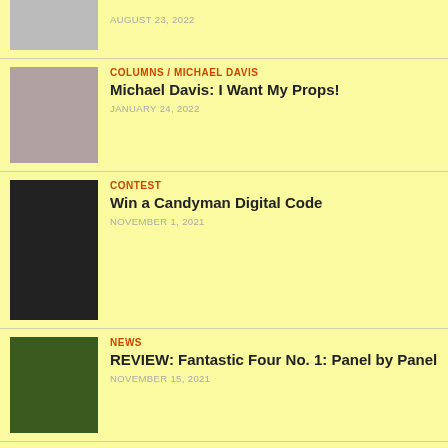AUGUST 23, 2022
COLUMNS / MICHAEL DAVIS
Michael Davis: I Want My Props!
JANUARY 24, 2022
CONTEST
Win a Candyman Digital Code
NOVEMBER 1, 2021
NEWS
REVIEW: Fantastic Four No. 1: Panel by Panel
NOVEMBER 15, 2021
COLUMNS / MICHAEL DAVIS
Michael Davis: Don's A Friend
APRIL 11, 2022